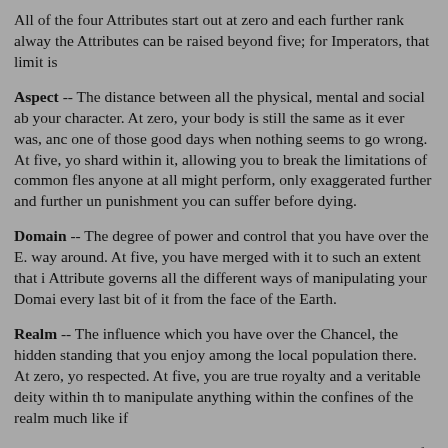All of the four Attributes start out at zero and each further rank alway the Attributes can be raised beyond five; for Imperators, that limit is
Aspect -- The distance between all the physical, mental and social ab your character. At zero, your body is still the same as it ever was, anc one of those good days when nothing seems to go wrong. At five, yo shard within it, allowing you to break the limitations of common fles anyone at all might perform, only exaggerated further and further un punishment you can suffer before dying.
Domain -- The degree of power and control that you have over the E. way around. At five, you have merged with it to such an extent that i Attribute governs all the different ways of manipulating your Domai every last bit of it from the face of the Earth.
Realm -- The influence which you have over the Chancel, the hidden standing that you enjoy among the local population there. At zero, yo respected. At five, you are true royalty and a veritable deity within th to manipulate anything within the confines of the realm much like if
Spirit -- The harmony between your mortal spirit and the shard of div five, you are either on the verge of burning away the last remnants of enlightened state where your two souls fuse together and remain perf magical rites you might perform, and also provides a considerable a